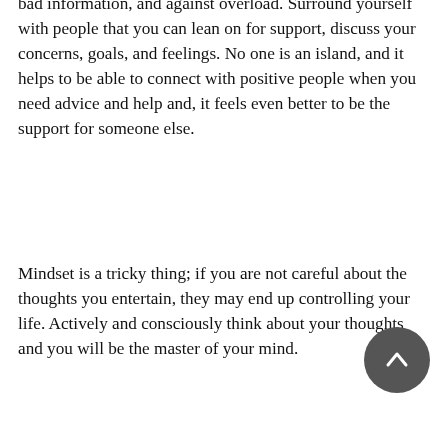bad information, and against overload. Surround yourself with people that you can lean on for support, discuss your concerns, goals, and feelings. No one is an island, and it helps to be able to connect with positive people when you need advice and help and, it feels even better to be the support for someone else.
Mindset is a tricky thing; if you are not careful about the thoughts you entertain, they may end up controlling your life. Actively and consciously think about your thoughts and you will be the master of your mind.
[Figure (other): A dark grey circular scroll-to-top button with an upward-pointing chevron arrow icon]